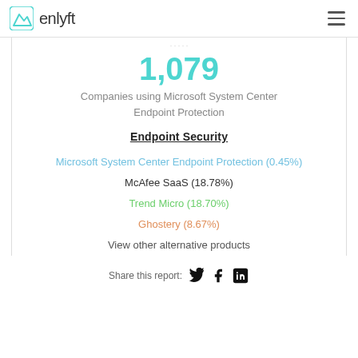enlyft
1,079
Companies using Microsoft System Center Endpoint Protection
Endpoint Security
Microsoft System Center Endpoint Protection (0.45%)
McAfee SaaS (18.78%)
Trend Micro (18.70%)
Ghostery (8.67%)
View other alternative products
Share this report: